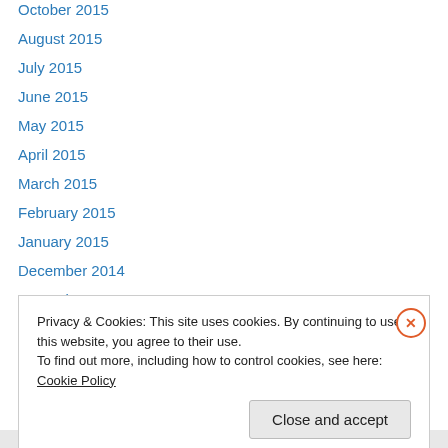October 2015
August 2015
July 2015
June 2015
May 2015
April 2015
March 2015
February 2015
January 2015
December 2014
November 2014
October 2014
September 2014
Privacy & Cookies: This site uses cookies. By continuing to use this website, you agree to their use.
To find out more, including how to control cookies, see here: Cookie Policy
Close and accept